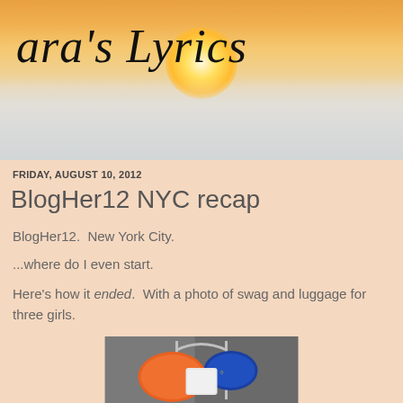[Figure (photo): Blog header banner with sunset/sunrise sky background showing warm orange and golden tones with sun rays breaking through clouds]
ara's Lyrics
FRIDAY, AUGUST 10, 2012
BlogHer12 NYC recap
BlogHer12.  New York City.
...where do I even start.
Here's how it ended.  With a photo of swag and luggage for three girls.
[Figure (photo): Photo of bags and luggage on a hotel luggage rack, including orange and blue shopping bags]